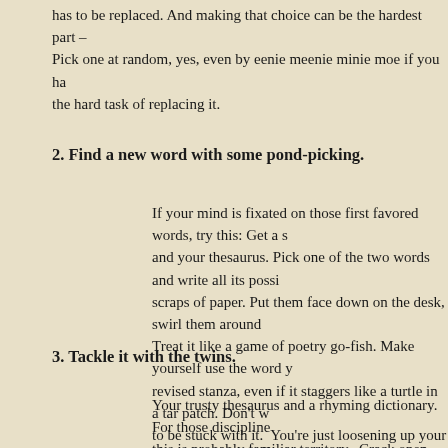has to be replaced. And making that choice can be the hardest part – Pick one at random, yes, even by eenie meenie minie moe if you ha the hard task of replacing it.
2. Find a new word with some pond-picking.
If your mind is fixated on those first favored words, try this: Get a s and your thesaurus. Pick one of the two words and write all its possi scraps of paper. Put them face down on the desk, swirl them around Treat it like a game of poetry go-fish. Make yourself use the word y revised stanza, even if it staggers like a turtle in a tar patch. Don't w to be stuck with it. You're just loosening up your mind. Go ahead a Maybe you'll happen on a good choice by chance, but more likely y offering better replacements.
3. Tackle it with the twins.
Your trusty thesaurus and a rhyming dictionary. For those discipline this is probably familiar territory. Crack open the thesaurus and rep your two words. Then try finding the right dance partners in your rh a slow, back and forth slog, but it works. The trick is not to give up. promise myself anything from chocolate to that panda bear hoodie I over – but I can only have it when the broken stanza is fixed. Mayb childish impetus, but my inner poet is a bit immature – or perhaps s